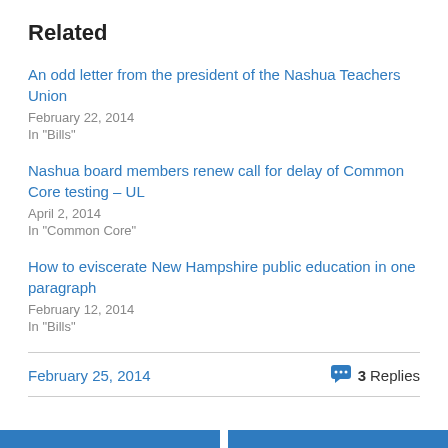Related
An odd letter from the president of the Nashua Teachers Union
February 22, 2014
In "Bills"
Nashua board members renew call for delay of Common Core testing – UL
April 2, 2014
In "Common Core"
How to eviscerate New Hampshire public education in one paragraph
February 12, 2014
In "Bills"
February 25, 2014
3 Replies